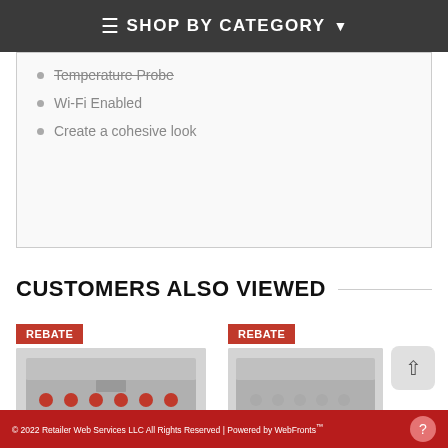≡ SHOP BY CATEGORY ▾
Temperature Probe
Wi-Fi Enabled
Create a cohesive look
CUSTOMERS ALSO VIEWED
[Figure (photo): Kitchen range with REBATE badge on left product]
[Figure (photo): Kitchen range with REBATE badge on right product, with scroll-to-top button]
© 2022 Retailer Web Services LLC All Rights Reserved | Powered by WebFronts™